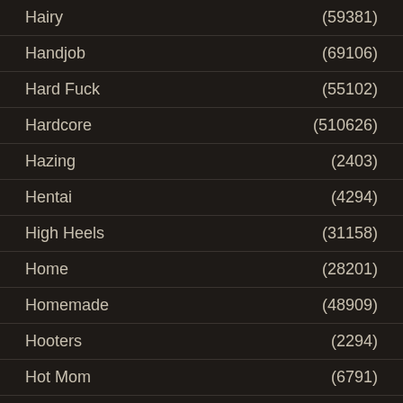Hairy (59381)
Handjob (69106)
Hard Fuck (55102)
Hardcore (510626)
Hazing (2403)
Hentai (4294)
High Heels (31158)
Home (28201)
Homemade (48909)
Hooters (2294)
Hot Mom (6791)
Hotel (3680)